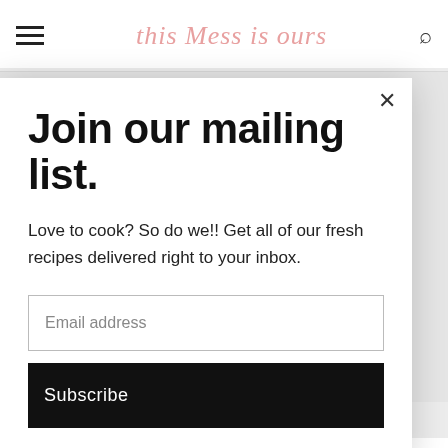This Mess is Ours
Join our mailing list.
Love to cook? So do we!! Get all of our fresh recipes delivered right to your inbox.
Email address
Subscribe
Just in case you weren't aware, this Saturday